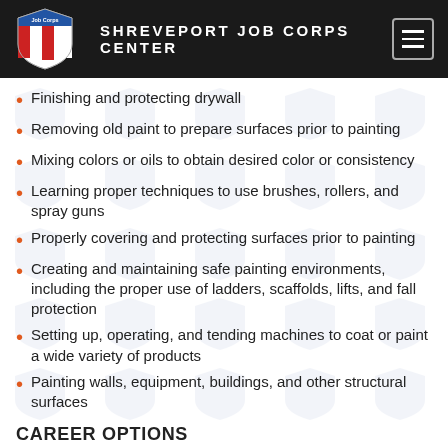SHREVEPORT JOB CORPS CENTER
Finishing and protecting drywall
Removing old paint to prepare surfaces prior to painting
Mixing colors or oils to obtain desired color or consistency
Learning proper techniques to use brushes, rollers, and spray guns
Properly covering and protecting surfaces prior to painting
Creating and maintaining safe painting environments, including the proper use of ladders, scaffolds, lifts, and fall protection
Setting up, operating, and tending machines to coat or paint a wide variety of products
Painting walls, equipment, buildings, and other structural surfaces
CAREER OPTIONS